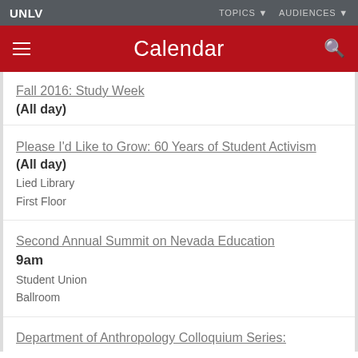UNLV  TOPICS  AUDIENCES
Calendar
Fall 2016: Study Week
(All day)
Please I'd Like to Grow: 60 Years of Student Activism
(All day)
Lied Library
First Floor
Second Annual Summit on Nevada Education
9am
Student Union
Ballroom
Department of Anthropology Colloquium Series: